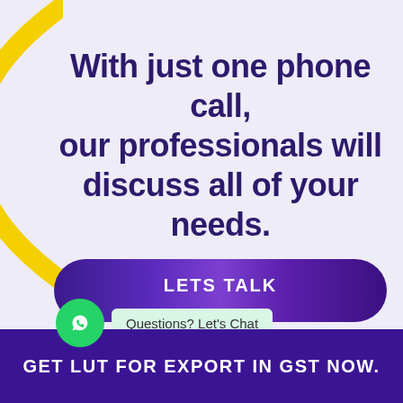[Figure (illustration): Yellow crescent/arc shape on upper-left corner of page]
With just one phone call, our professionals will discuss all of your needs.
[Figure (other): Dark purple pill-shaped button with text LETS TALK and a glowing center effect]
[Figure (other): Green WhatsApp circle icon with a speech bubble saying Questions? Let's Chat]
GET LUT FOR EXPORT IN GST NOW.